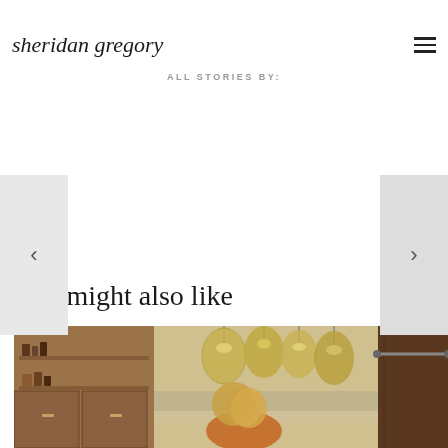sheridan gregory
ALL STORIES BY:
[Figure (illustration): Left navigation arrow button (chevron left) on light gray background]
[Figure (illustration): Right navigation arrow button (chevron right) on light gray background]
You might also like
[Figure (photo): Woman with blonde hair in a rustic kitchen with large glass pendant lights, wooden cabinetry, and shelving with kitchen items]